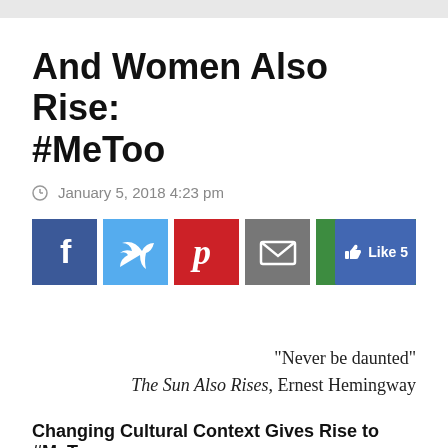And Women Also Rise: #MeToo
January 5, 2018 4:23 pm
[Figure (infographic): Social media share buttons: Facebook, Twitter, Pinterest, Email, and a Facebook Like button showing count of 5]
“Never be daunted”
The Sun Also Rises, Ernest Hemingway
Changing Cultural Context Gives Rise to #MeToo
The issues of #MeToo campaign are as old as the world, and they are not only women’s issues. They are